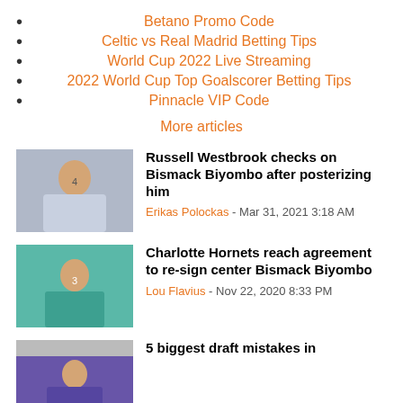Betano Promo Code
Celtic vs Real Madrid Betting Tips
World Cup 2022 Live Streaming
2022 World Cup Top Goalscorer Betting Tips
Pinnacle VIP Code
More articles
[Figure (photo): Russell Westbrook in Washington Wizards #4 jersey posing]
Russell Westbrook checks on Bismack Biyombo after posterizing him
Erikas Polockas - Mar 31, 2021 3:18 AM
[Figure (photo): Charlotte Hornets player in teal jersey on basketball court]
Charlotte Hornets reach agreement to re-sign center Bismack Biyombo
Lou Flavius - Nov 22, 2020 8:33 PM
[Figure (photo): Partial basketball article image]
5 biggest draft mistakes in